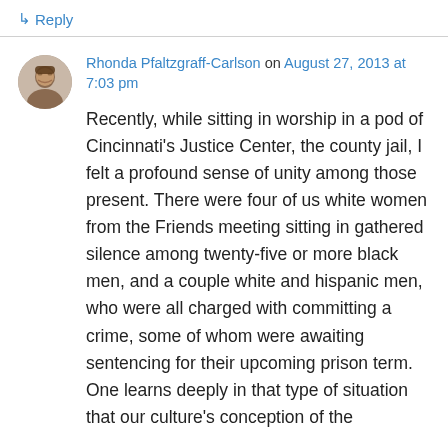↳ Reply
Rhonda Pfaltzgraff-Carlson on August 27, 2013 at 7:03 pm
Recently, while sitting in worship in a pod of Cincinnati's Justice Center, the county jail, I felt a profound sense of unity among those present. There were four of us white women from the Friends meeting sitting in gathered silence among twenty-five or more black men, and a couple white and hispanic men, who were all charged with committing a crime, some of whom were awaiting sentencing for their upcoming prison term. One learns deeply in that type of situation that our culture's conception of the